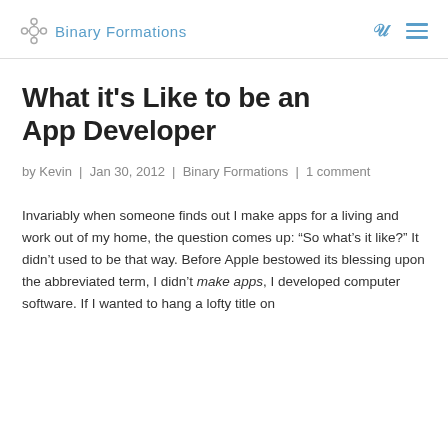Binary Formations
What it's Like to be an App Developer
by Kevin | Jan 30, 2012 | Binary Formations | 1 comment
Invariably when someone finds out I make apps for a living and work out of my home, the question comes up: “So what’s it like?” It didn’t used to be that way. Before Apple bestowed its blessing upon the abbreviated term, I didn’t make apps, I developed computer software. If I wanted to hang a lofty title on